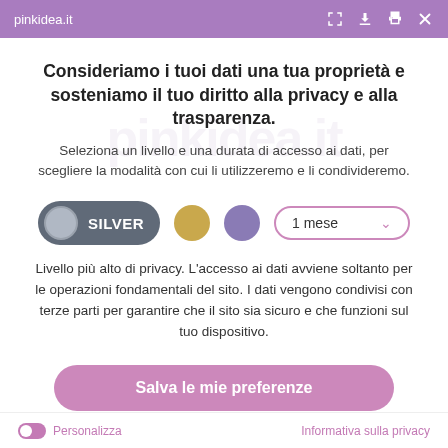pinkidea.it
Consideriamo i tuoi dati una tua proprietà e sosteniamo il tuo diritto alla privacy e alla trasparenza.
Seleziona un livello e una durata di accesso ai dati, per scegliere la modalità con cui li utilizzeremo e li condivideremo.
SILVER   [Gold circle]   [Purple circle]   1 mese ▾
Livello più alto di privacy. L'accesso ai dati avviene soltanto per le operazioni fondamentali del sito. I dati vengono condivisi con terze parti per garantire che il sito sia sicuro e che funzioni sul tuo dispositivo.
Salva le mie preferenze
Personalizza   Informativa sulla privacy